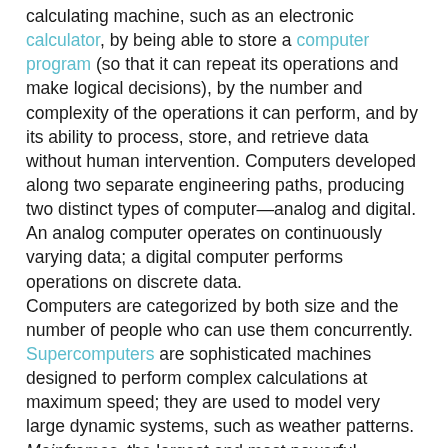calculating machine, such as an electronic calculator, by being able to store a computer program (so that it can repeat its operations and make logical decisions), by the number and complexity of the operations it can perform, and by its ability to process, store, and retrieve data without human intervention. Computers developed along two separate engineering paths, producing two distinct types of computer—analog and digital. An analog computer operates on continuously varying data; a digital computer performs operations on discrete data. Computers are categorized by both size and the number of people who can use them concurrently. Supercomputers are sophisticated machines designed to perform complex calculations at maximum speed; they are used to model very large dynamic systems, such as weather patterns. Mainframes, the largest and most powerful general-purpose systems, are designed to meet the computing needs of a large organization by serving hundreds of computer terminals at the same time. Minicomputers, though somewhat smaller, also are multiuser